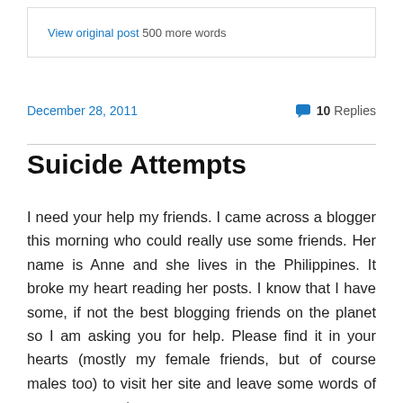View original post 500 more words
December 28, 2011
10 Replies
Suicide Attempts
I need your help my friends. I came across a blogger this morning who could really use some friends. Her name is Anne and she lives in the Philippines. It broke my heart reading her posts. I know that I have some, if not the best blogging friends on the planet so I am asking you for help. Please find it in your hearts (mostly my female friends, but of course males too) to visit her site and leave some words of encouragement.